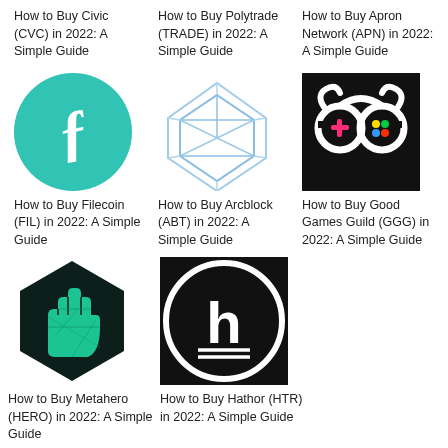How to Buy Civic (CVC) in 2022: A Simple Guide
How to Buy Polytrade (TRADE) in 2022: A Simple Guide
How to Buy Apron Network (APN) in 2022: A Simple Guide
[Figure (logo): Filecoin logo: teal circle with white stylized f symbol]
[Figure (logo): Arcblock logo: light blue 3D geometric diamond/cube wireframe]
[Figure (logo): Good Games Guild logo: black background with white game controller snake/dragon icon]
How to Buy Filecoin (FIL) in 2022: A Simple Guide
How to Buy Arcblock (ABT) in 2022: A Simple Guide
How to Buy Good Games Guild (GGG) in 2022: A Simple Guide
[Figure (logo): Metahero logo: dark hexagon with teal raised fist geometric design]
[Figure (logo): Hathor logo: black circle with white h letter coin symbol]
How to Buy Metahero (HERO) in 2022: A Simple Guide
How to Buy Hathor (HTR) in 2022: A Simple Guide